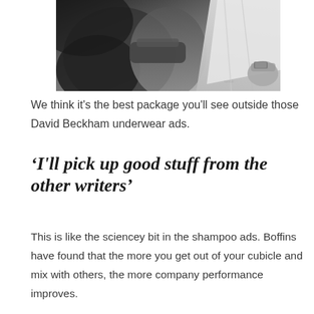[Figure (photo): Black and white intimate fashion photograph showing two people, one in underwear and one in an open white shirt, reminiscent of David Beckham underwear advertisement style]
We think it’s the best package you’ll see outside those David Beckham underwear ads.
‘I’ll pick up good stuff from the other writers’
This is like the sciencey bit in the shampoo ads. Boffins have found that the more you get out of your cubicle and mix with others, the more company performance improves.